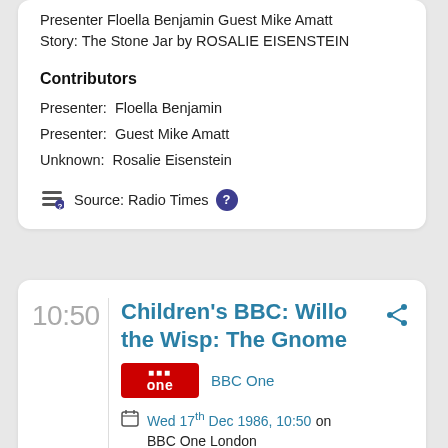Presenter Floella Benjamin Guest Mike Amatt Story: The Stone Jar by ROSALIE EISENSTEIN
Contributors
Presenter:  Floella Benjamin
Presenter:  Guest Mike Amatt
Unknown:  Rosalie Eisenstein
Source: Radio Times
10:50
Children's BBC: Willo the Wisp: The Gnome
BBC One
Wed 17th Dec 1986, 10:50 on BBC One London